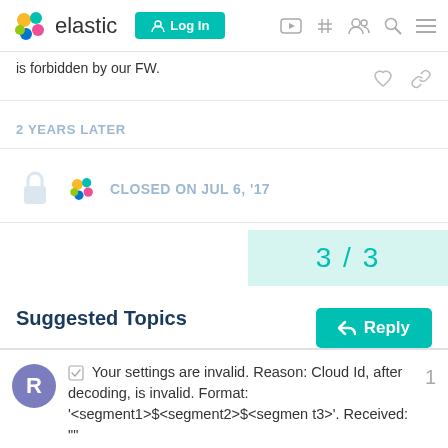elastic | Log In
is forbidden by our FW.
2 YEARS LATER
CLOSED ON JUL 6, '17
3 / 3
Reply
Suggested Topics
Your settings are invalid. Reason: Cloud Id, after decoding, is invalid. Format: '<segment1>$<segment2>$<segment3>'. Received: ""